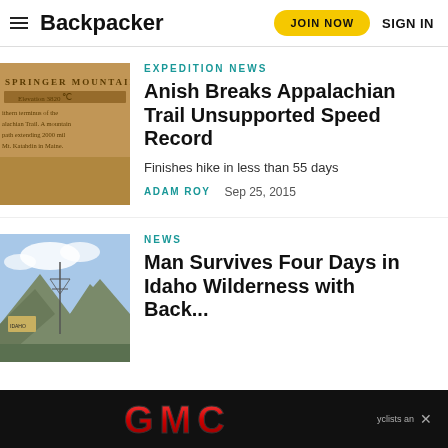Backpacker | JOIN NOW | SIGN IN
EXPEDITION NEWS
Anish Breaks Appalachian Trail Unsupported Speed Record
Finishes hike in less than 55 days
ADAM ROY   Sep 25, 2015
NEWS
Man Survives Four Days in Idaho Wilderness with Backpack...
[Figure (photo): Springer Mountain trail sign, elevation 3820, southern terminus of the Appalachian Trail, a mountain path extending 2000 miles to Mt. Katahdin in Maine]
[Figure (photo): Mountain wilderness landscape with rocky peaks and power line tower, Idaho]
[Figure (logo): GMC logo advertisement banner in red on black background]